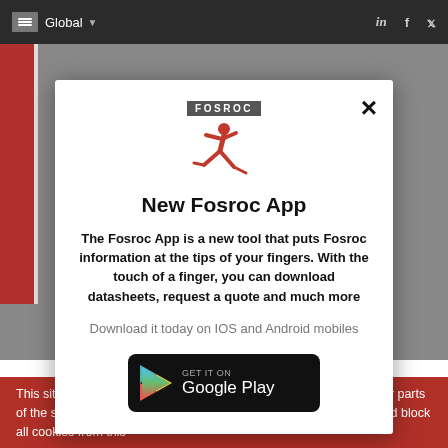Global
[Figure (logo): Fosroc logo with wordmark FOSROC and red running figure icon]
New Fosroc App
The Fosroc App is a new tool that puts Fosroc information at the tips of your fingers. With the touch of a finger, you can download datasheets, request a quote and much more
Download it today on IOS and Android mobiles
[Figure (logo): Google Play store badge: GET IT ON Google Play]
This site uses cookies. Some of the cookies we use are essential for parts of the site to operate and have already been set. You may delete and block all cookies from this